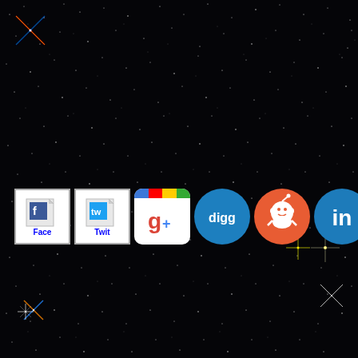[Figure (screenshot): Dark starfield/space background with scattered white stars, colored star flares (top-left: multicolor cross, center-right: white cross, bottom-left: colored cross, right-center: yellow crosshair), and a row of social media icons at lower-left: Facebook (Face), Twitter (Twit), Google+ (g+), Digg, Reddit, LinkedIn, Pinterest]
[Figure (logo): Facebook icon square with page-folded corner and 'Face' label]
[Figure (logo): Twitter icon square with page-folded corner and 'Twit' label]
[Figure (logo): Google+ rounded square icon with multicolor top bar and g+ symbol]
[Figure (logo): Digg circular blue icon with 'digg' text]
[Figure (logo): Reddit circular red icon with alien logo]
[Figure (logo): LinkedIn circular blue icon with 'in' text]
[Figure (logo): Pinterest circular red icon with P logo]